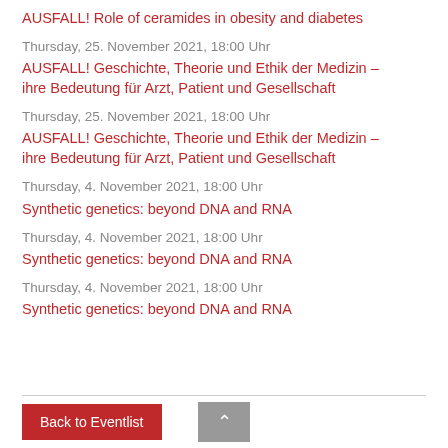AUSFALL! Role of ceramides in obesity and diabetes
Thursday, 25. November 2021, 18:00 Uhr
AUSFALL! Geschichte, Theorie und Ethik der Medizin – ihre Bedeutung für Arzt, Patient und Gesellschaft
Thursday, 25. November 2021, 18:00 Uhr
AUSFALL! Geschichte, Theorie und Ethik der Medizin – ihre Bedeutung für Arzt, Patient und Gesellschaft
Thursday, 4. November 2021, 18:00 Uhr
Synthetic genetics: beyond DNA and RNA
Thursday, 4. November 2021, 18:00 Uhr
Synthetic genetics: beyond DNA and RNA
Thursday, 4. November 2021, 18:00 Uhr
Synthetic genetics: beyond DNA and RNA
Back to Eventlist
^